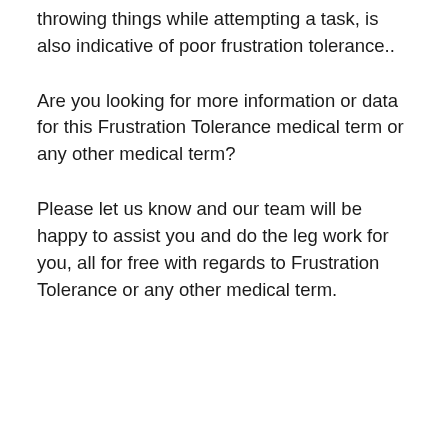throwing things while attempting a task, is also indicative of poor frustration tolerance..
Are you looking for more information or data for this Frustration Tolerance medical term or any other medical term?
Please let us know and our team will be happy to assist you and do the leg work for you, all for free with regards to Frustration Tolerance or any other medical term.